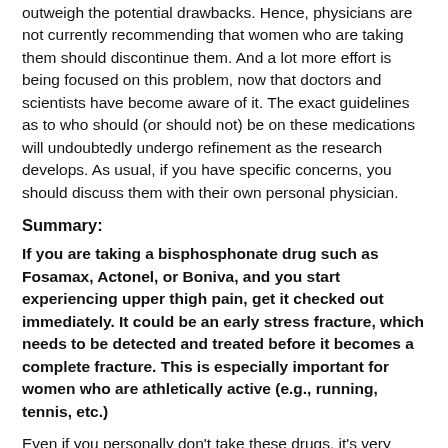outweigh the potential drawbacks. Hence, physicians are not currently recommending that women who are taking them should discontinue them. And a lot more effort is being focused on this problem, now that doctors and scientists have become aware of it. The exact guidelines as to who should (or should not) be on these medications will undoubtedly undergo refinement as the research develops. As usual, if you have specific concerns, you should discuss them with their own personal physician.
Summary:
If you are taking a bisphosphonate drug such as Fosamax, Actonel, or Boniva, and you start experiencing upper thigh pain, get it checked out immediately. It could be an early stress fracture, which needs to be detected and treated before it becomes a complete fracture. This is especially important for women who are athletically active (e.g., running, tennis, etc.)
Even if you personally don't take these drugs, it's very likely you will know someone in your family or circle of friends who does.